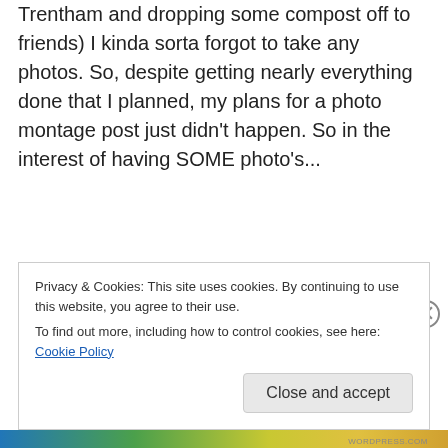Trentham and dropping some compost off to friends) I kinda sorta forgot to take any photos. So, despite getting nearly everything done that I planned, my plans for a photo montage post just didn't happen. So in the interest of having SOME photo's...
Privacy & Cookies: This site uses cookies. By continuing to use this website, you agree to their use.
To find out more, including how to control cookies, see here: Cookie Policy
Close and accept